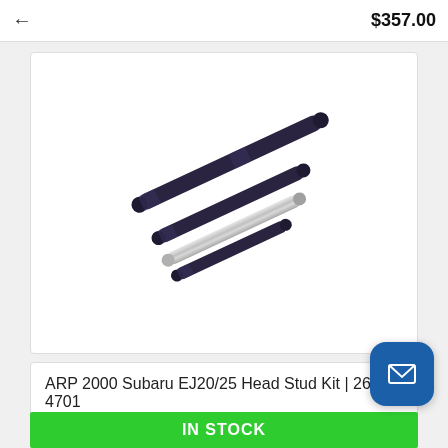← $357.00
[Figure (photo): Four ARP head studs arranged diagonally — three dark/black coated studs and one silver/polished stud — on a white background.]
ARP 2000 Subaru EJ20/25 Head Stud Kit | 260-4701
IN STOCK